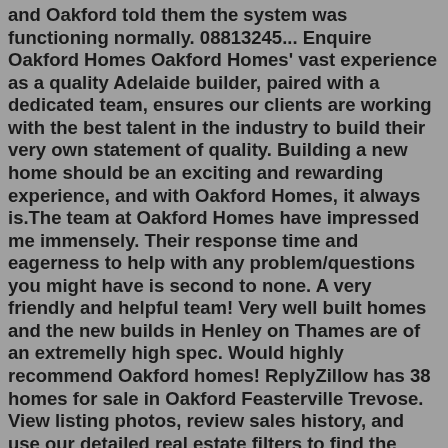and Oakford told them the system was functioning normally. 08813245... Enquire Oakford Homes Oakford Homes' vast experience as a quality Adelaide builder, paired with a dedicated team, ensures our clients are working with the best talent in the industry to build their very own statement of quality. Building a new home should be an exciting and rewarding experience, and with Oakford Homes, it always is.The team at Oakford Homes have impressed me immensely. Their response time and eagerness to help with any problem/questions you might have is second to none. A very friendly and helpful team! Very well built homes and the new builds in Henley on Thames are of an extremelly high spec. Would highly recommend Oakford homes! ReplyZillow has 38 homes for sale in Oakford Feasterville Trevose. View listing photos, review sales history, and use our detailed real estate filters to find the perfect place. Browse data on the 17 recent real estate transactions in Oakford IL. Great for discovering comps, sales history, photos, and more. I reported the matter to